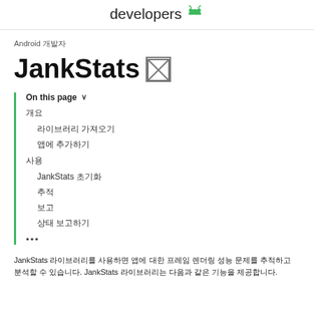developers 🤖
Android 개발자
JankStats 🔲
On this page ∨
개요
라이브러리 가져오기
앱에 추가하기
사용
JankStats 초기화
추적
보고
상태 보고하기
•••
JankStats 라이브러리를 사용하면 앱에 대한 프레임 렌더링 성능 문제를 추적하고 분석할 수 있습니다. JankStats 라이브러리는 다음과 같은 기능을 제공합니다.